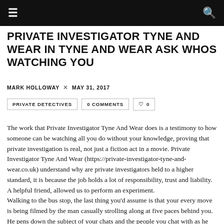≡  🔍
PRIVATE INVESTIGATOR TYNE AND WEAR IN TYNE AND WEAR ASK WHOS WATCHING YOU
MARK HOLLOWAY  ✕  MAY 31, 2017
PRIVATE DETECTIVES
0 COMMENTS
♡ 0
The work that Private Investigator Tyne And Wear does is a testimony to how someone can be watching all you do without your knowledge, proving that private investigation is real, not just a fiction act in a movie. Private Investigator Tyne And Wear (https://private-investigator-tyne-and-wear.co.uk) understand why are private investigators held to a higher standard, it is because the job holds a lot of responsibility, trust and liability. A helpful friend, allowed us to perform an experiment.
Walking to the bus stop, the last thing you'd assume is that your every move is being filmed by the man casually strolling along at five paces behind you. He pens down the subject of your chats and the people you chat with as he follows you.